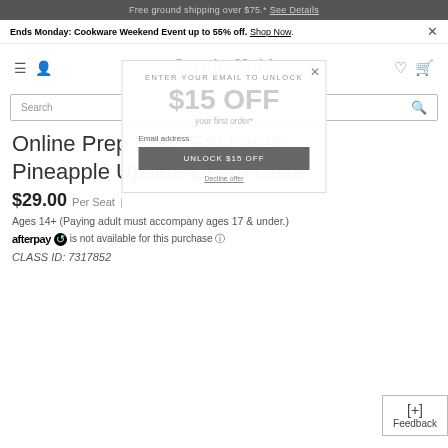Free ground shipping over $75.* See Details
Ends Monday: Cookware Weekend Event up to 55% off. Shop Now.
[Figure (logo): Suvula Hable script logo]
ENTER YOUR EMAIL TO UNLOCK
$15 OFF
your first order*
Email address
UNLOCK $15 OFF
Decline offer
Online Prep Now, Eat Later: Pineapple Upside-Down Cake
$29.00  Per Seat  |
Ages 14+ (Paying adult must accompany ages 17 & under.)
afterpay is not available for this purchase ℹ
CLASS ID: 7317852